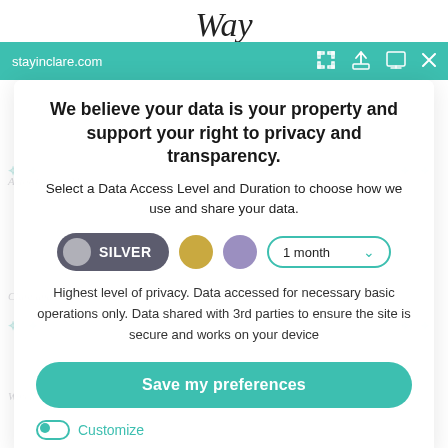stayinclare.com
We believe your data is your property and support your right to privacy and transparency.
Select a Data Access Level and Duration to choose how we use and share your data.
[Figure (infographic): Privacy level selector showing: Silver toggle (active), Gold circle, Purple circle, and a '1 month' dropdown selector]
Highest level of privacy. Data accessed for necessary basic operations only. Data shared with 3rd parties to ensure the site is secure and works on your device
Save my preferences
Customize